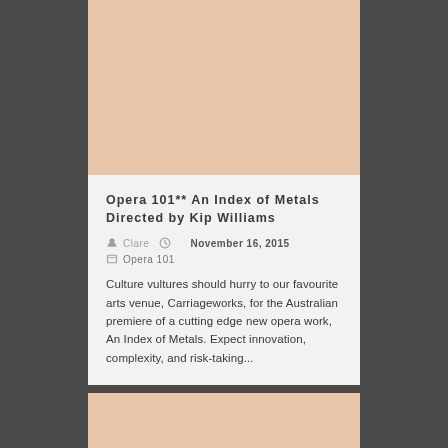[Figure (photo): Peach/salmon colored image placeholder at top of card]
Opera 101** An Index of Metals Directed by Kip Williams
Clare   November 16, 2015
Opera 101
Culture vultures should hurry to our favourite arts venue, Carriageworks, for the Australian premiere of a cutting edge new opera work, An Index of Metals. Expect innovation, complexity, and risk-taking...
[Figure (photo): Peach/salmon colored image placeholder at bottom of page]